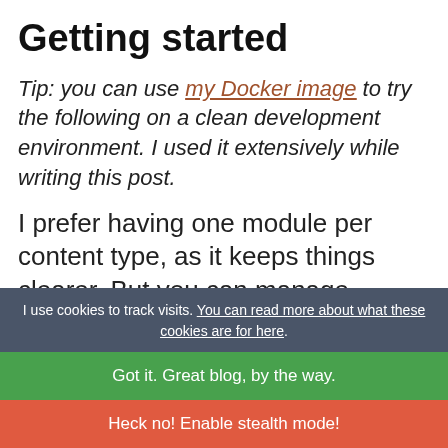Getting started
Tip: you can use my Docker image to try the following on a clean development environment. I used it extensively while writing this post.
I prefer having one module per content type, as it keeps things clearer. But you can manage multiple content types in one module.
I use cookies to track visits. You can read more about what these cookies are for here.
Got it. Great blog, by the way.
Heck no! Enable stealth mode!